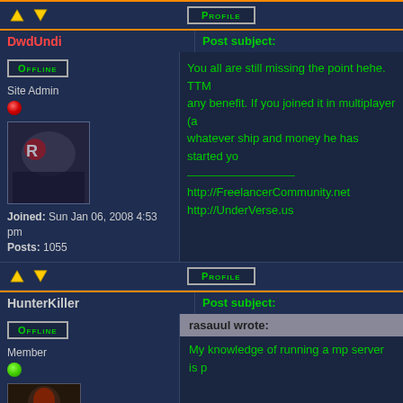Forum post navigation row with Profile button
DwdUndi | Post subject:
[Figure (screenshot): Offline button, Site Admin label, red dot icon, avatar image (game artwork)]
You all are still missing the point hehe. TTM any benefit. If you joined it in multiplayer (a whatever ship and money he has started yo
http://FreelancerCommunity.net
http://UnderVerse.us
Joined: Sun Jan 06, 2008 4:53 pm
Posts: 1055
Navigation arrows and Profile button
HunterKiller | Post subject:
[Figure (screenshot): Offline button, Member label, green dot icon, avatar image]
rasauul wrote:
My knowledge of running a mp server is p